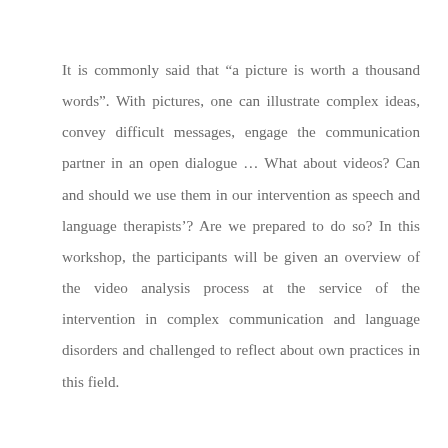It is commonly said that “a picture is worth a thousand words”. With pictures, one can illustrate complex ideas, convey difficult messages, engage the communication partner in an open dialogue … What about videos? Can and should we use them in our intervention as speech and language therapists’? Are we prepared to do so? In this workshop, the participants will be given an overview of the video analysis process at the service of the intervention in complex communication and language disorders and challenged to reflect about own practices in this field.